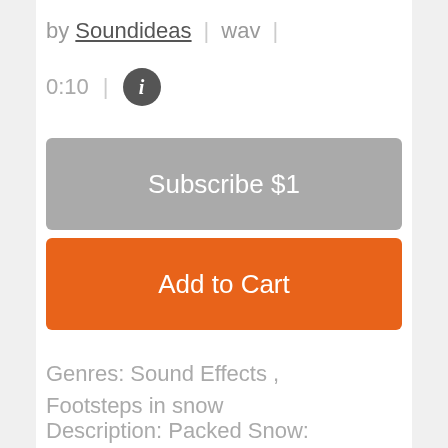by Soundideas | wav |
0:10 | i
Subscribe $1
Add to Cart
Genres: Sound Effects , Footsteps in snow
Description: Packed Snow: